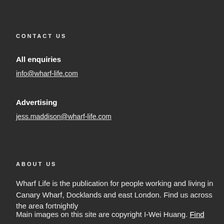CONTACT US
All enquiries
info@wharf-life.com
Advertising
jess.maddison@wharf-life.com
ABOUT US
Wharf Life is the publication for people working and living in Canary Wharf, Docklands and east London. Find us across the area fortnightly
Main images on this site are copyright I-Wei Huang. Find